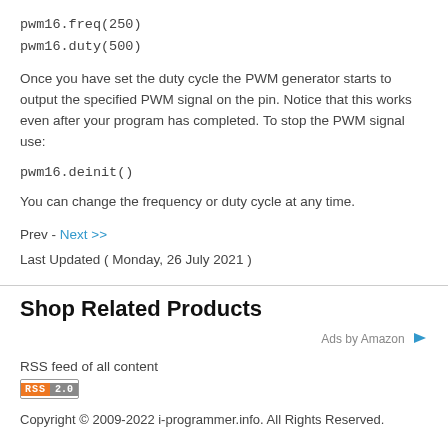pwm16.freq(250)
pwm16.duty(500)
Once you have set the duty cycle the PWM generator starts to output the specified PWM signal on the pin. Notice that this works even after your program has completed. To stop the PWM signal use:
pwm16.deinit()
You can change the frequency or duty cycle at any time.
Prev - Next >>
Last Updated ( Monday, 26 July 2021 )
Shop Related Products
Ads by Amazon
RSS feed of all content
[Figure (logo): RSS 2.0 badge with orange RSS label and gray 2.0 label]
Copyright © 2009-2022 i-programmer.info. All Rights Reserved.